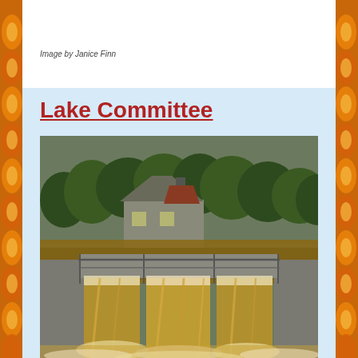Image by Janice Finn
Lake Committee
[Figure (photo): Photograph of a dam spillway with rushing brown floodwater cascading over concrete weirs. In the background, a residential house and trees are visible across a murky lake or river.]